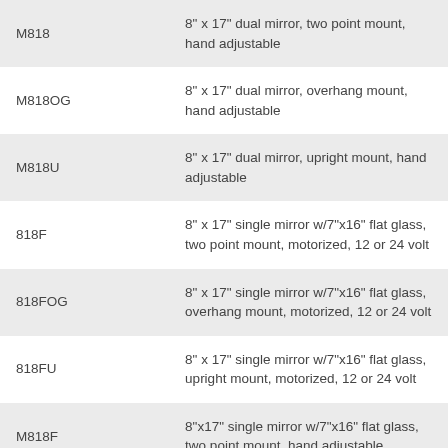| Model | Description |
| --- | --- |
| M818 | 8" x 17" dual mirror, two point mount, hand adjustable |
| M818OG | 8" x 17" dual mirror, overhang mount, hand adjustable |
| M818U | 8" x 17" dual mirror, upright mount, hand adjustable |
| 818F | 8" x 17" single mirror w/7"x16" flat glass, two point mount, motorized, 12 or 24 volt |
| 818FOG | 8" x 17" single mirror w/7"x16" flat glass, overhang mount, motorized, 12 or 24 volt |
| 818FU | 8" x 17" single mirror w/7"x16" flat glass, upright mount, motorized, 12 or 24 volt |
| M818F | 8"x17" single mirror w/7"x16" flat glass, two point mount, hand adjustable |
| (partial) | 8"x17" single mirror w/7"x16" flat glass, |